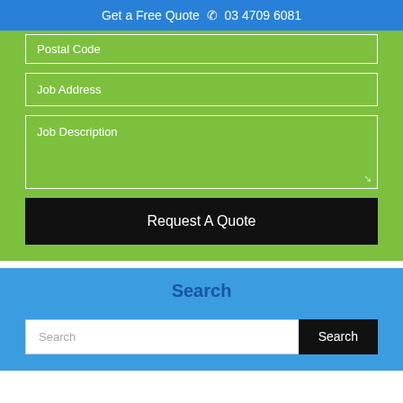Get a Free Quote  📞 03 4709 6081
Postal Code
Job Address
Job Description
Request A Quote
Search
Search